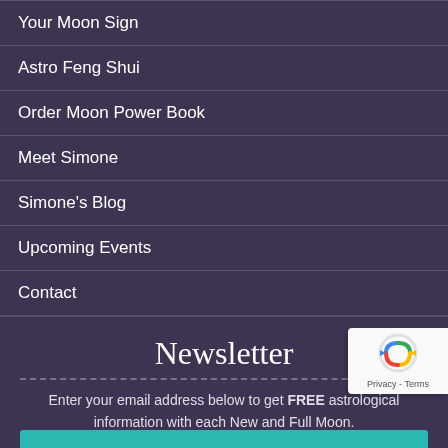Your Moon Sign
Astro Feng Shui
Order Moon Power Book
Meet Simone
Simone's Blog
Upcoming Events
Contact
Newsletter
Enter your email address below to get FREE astrological information with each New and Full Moon.
(Don't worry, I'll never spam you!)
Email Address